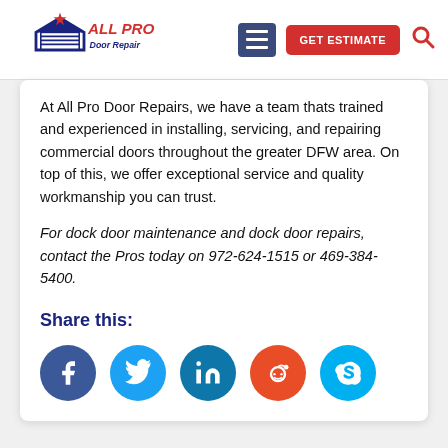[Figure (logo): All Pro Door Repair logo with house/star graphic, red and blue text]
At All Pro Door Repairs, we have a team thats trained and experienced in installing, servicing, and repairing commercial doors throughout the greater DFW area. On top of this, we offer exceptional service and quality workmanship you can trust.
For dock door maintenance and dock door repairs, contact the Pros today on 972-624-1515 or 469-384-5400.
Share this:
[Figure (infographic): Social media share buttons: Facebook, Twitter, LinkedIn, Reddit, Skype — circular colored icons]